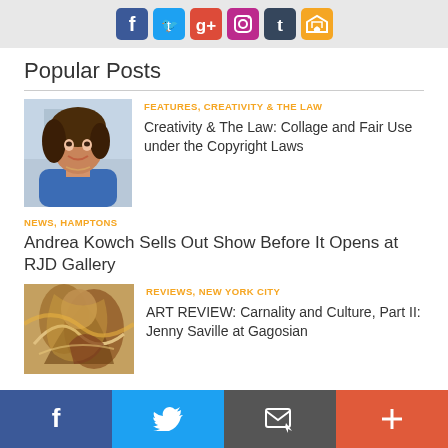[Figure (other): Top social media icons banner: Facebook, Twitter, Google+, Instagram, Tumblr, RSS on grey background]
Popular Posts
[Figure (photo): Woman with dark hair wearing blue top, smiling, portrait photo]
FEATURES, CREATIVITY & THE LAW
Creativity & The Law: Collage and Fair Use under the Copyright Laws
NEWS, HAMPTONS
Andrea Kowch Sells Out Show Before It Opens at RJD Gallery
[Figure (photo): Figurative painting with warm earth tones showing abstract figures]
REVIEWS, NEW YORK CITY
ART REVIEW: Carnality and Culture, Part II: Jenny Saville at Gagosian
[Figure (other): Bottom social sharing bar with Facebook, Twitter, email, and plus icons]